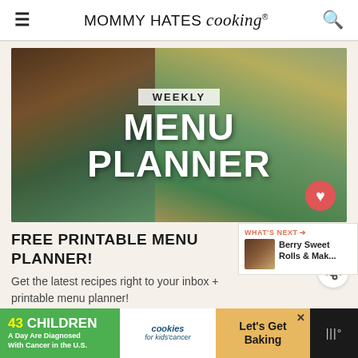MOMMY HATES cooking®
[Figure (photo): Food photo banner showing meat and cheesy dishes in teal bowls with overlay text: WEEKLY MENU PLANNER]
FREE PRINTABLE MENU PLANNER!
Get the latest recipes right to your inbox + printable menu planner!
[Figure (infographic): Advertisement banner: 43 CHILDREN A Day Are Diagnosed With Cancer in the U.S. | cookies for kids cancer | Let's Get Baking]